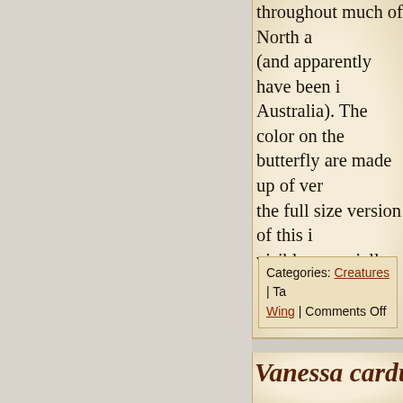throughout much of North a (and apparently have been i Australia). The color on the butterfly are made up of ver the full size version of this i visible, especially in the ora
Categories: Creatures | Tag Wing | Comments Off
Vanessa cardui (
Photograph taken on Sunday, September
I've posted photos of painte (Vanessa cardui) before, bu Each of the others show the wings, which are often fold butterfly is on a flower. I sp